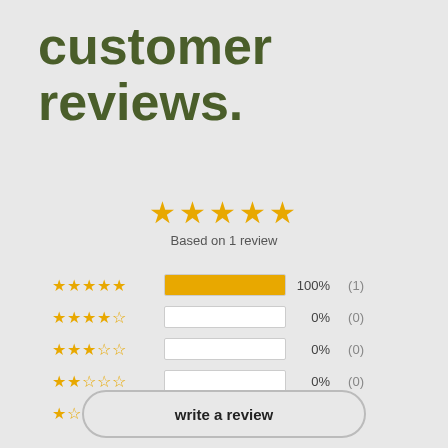customer reviews.
[Figure (other): 5 filled gold stars rating display with text 'Based on 1 review']
[Figure (bar-chart): Rating breakdown]
write a review